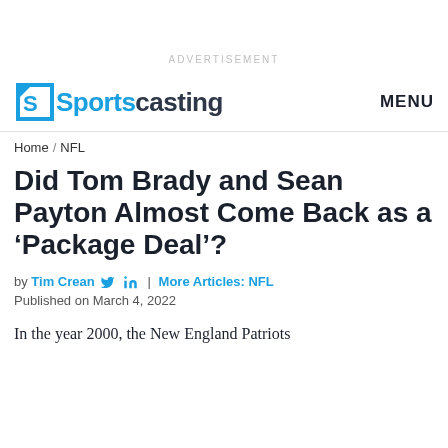ADVERTISEMENT
Sportscasting MENU
Home / NFL
Did Tom Brady and Sean Payton Almost Come Back as a ‘Package Deal’?
by Tim Crean in | More Articles: NFL
Published on March 4, 2022
In the year 2000, the New England Patriots